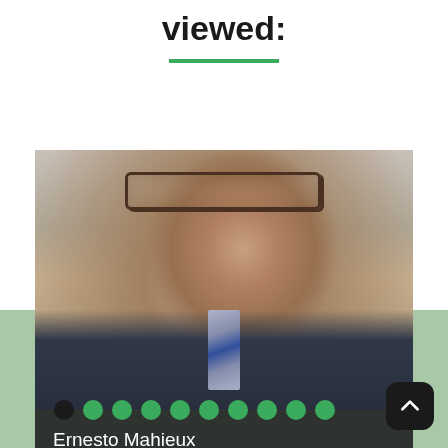viewed:
[Figure (photo): Headshot photo of Ernesto Mahieux, a middle-aged man wearing glasses and a dark pinstripe suit with a blue striped tie, smiling slightly, against a light background]
Ernesto Mahieux